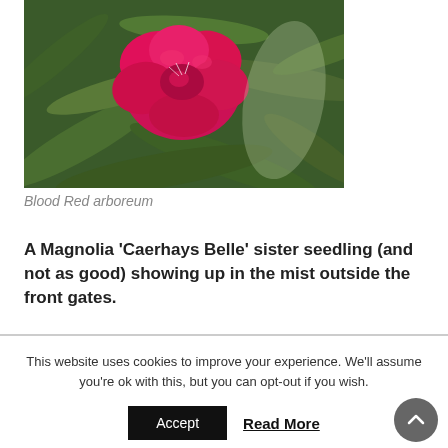[Figure (photo): Close-up photo of a bright red rhododendron arboreum flower with green leaves in the background]
Blood Red arboreum
A Magnolia 'Caerhays Belle' sister seedling (and not as good) showing up in the mist outside the front gates.
This website uses cookies to improve your experience. We'll assume you're ok with this, but you can opt-out if you wish.